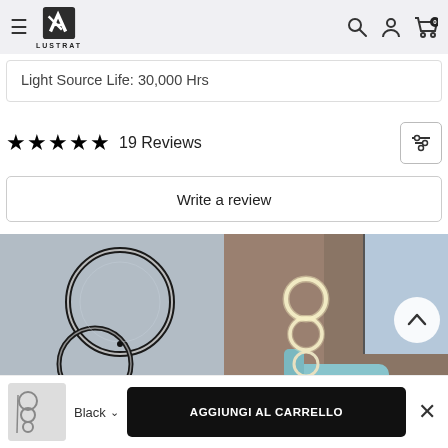LUSTRAT
Light Source Life: 30,000 Hrs
★★★★★ 19 Reviews
Write a review
[Figure (photo): Photo of circular LED ring lights mounted on a gray wall, showing reflection]
[Figure (photo): Photo of stacked circular LED ring lights in a room with a blue chair and window]
Black ▾  AGGIUNGI AL CARRELLO  ×